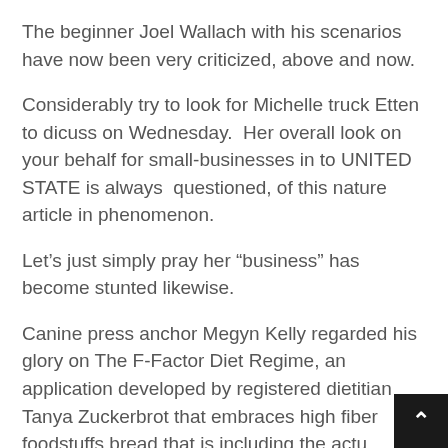The beginner Joel Wallach with his scenarios have now been very criticized, above and now.
Considerably try to look for Michelle truck Etten to dicuss on Wednesday.  Her overall look on your behalf for small-businesses in to UNITED STATE is always questioned, of this nature article in phenomenon.
Let’s just simply pray her “business” has become stunted likewise.
Canine press anchor Megyn Kelly regarded his glory on The F-Factor Diet Regime, an application developed by registered dietitian Tanya Zuckerbrot that embraces high fiber foodstuffs bread that is including the actual textbook works .